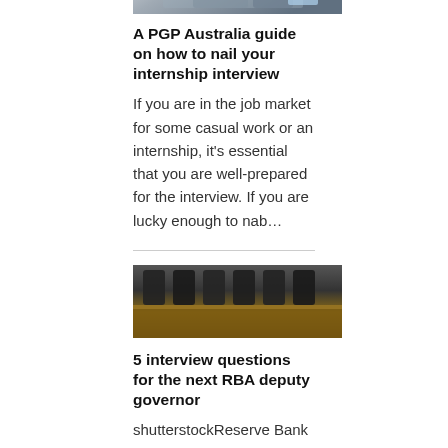[Figure (photo): Two people in a meeting, working on a laptop with papers and a glass of water on the table]
A PGP Australia guide on how to nail your internship interview
If you are in the job market for some casual work or an internship, it's essential that you are well-prepared for the interview. If you are lucky enough to nab…
[Figure (photo): Empty boardroom with dark chairs around a wooden table, conference room setting]
5 interview questions for the next RBA deputy governor
shutterstockReserve Bank Deputy Governor Guy Debelle has left the building. Wednesday marked his last day. Find out after…